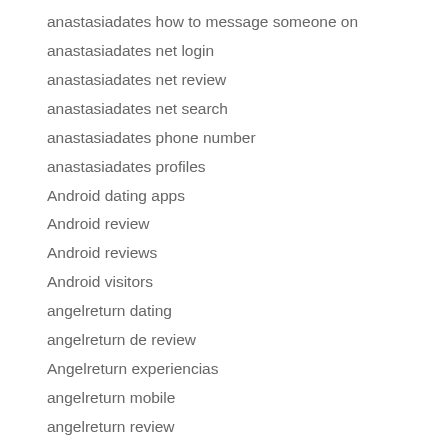anastasiadates how to message someone on
anastasiadates net login
anastasiadates net review
anastasiadates net search
anastasiadates phone number
anastasiadates profiles
Android dating apps
Android review
Android reviews
Android visitors
angelreturn dating
angelreturn de review
Angelreturn experiencias
angelreturn mobile
angelreturn review